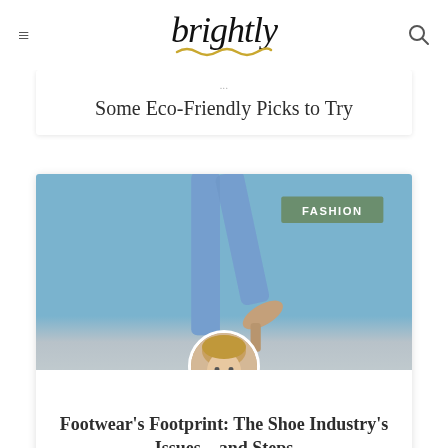brightly
Some Eco-Friendly Picks to Try
[Figure (photo): Person's legs in blue jeans and a tan/nude heel shoe, lifted upward against a blue-grey background. A green FASHION badge is overlaid in the top right. A circular author avatar photo appears at the bottom center.]
Footwear's Footprint: The Shoe Industry's Issues—and Steps